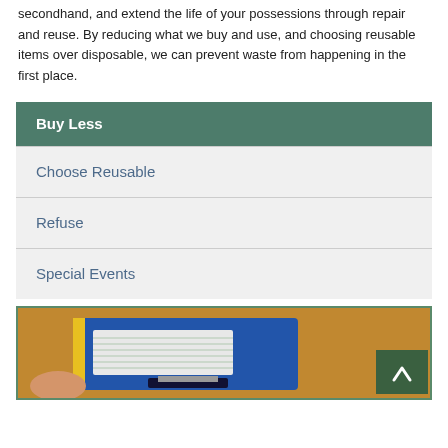secondhand, and extend the life of your possessions through repair and reuse. By reducing what we buy and use, and choosing reusable items over disposable, we can prevent waste from happening in the first place.
Buy Less
Choose Reusable
Refuse
Special Events
[Figure (photo): Close-up of a hand holding a blue floppy disk or small notebook with yellow lining on an orange/wooden background. A green scroll-to-top button with a caret/arrow appears in the bottom right corner.]